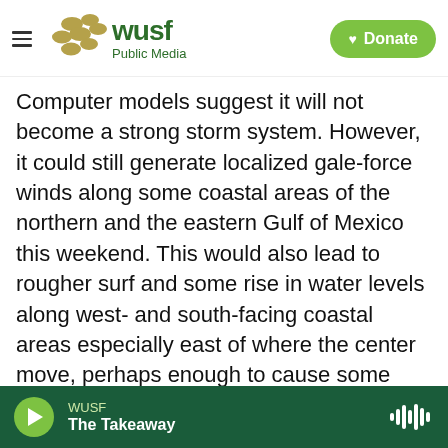WUSF Public Media — Donate
Computer models suggest it will not become a strong storm system. However, it could still generate localized gale-force winds along some coastal areas of the northern and the eastern Gulf of Mexico this weekend. This would also lead to rougher surf and some rise in water levels along west- and south-facing coastal areas especially east of where the center move, perhaps enough to cause some coastal flooding along the west coast of Florida and along the Florida Panhandle coastal areas.
Tags  Local / State  tropical weather
WUSF  The Takeaway